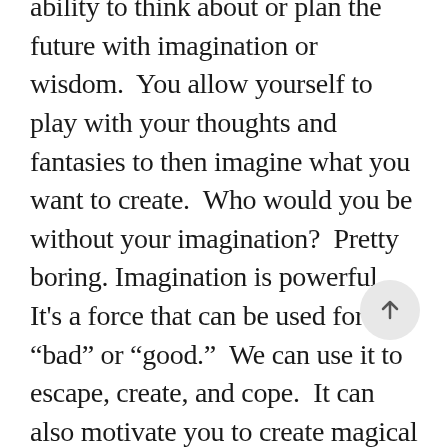ability to think about or plan the future with imagination or wisdom. You allow yourself to play with your thoughts and fantasies to then imagine what you want to create. Who would you be without your imagination? Pretty boring. Imagination is powerful. It's a force that can be used for “bad” or “good.” We can use it to escape, create, and cope. It can also motivate you to create magical achievements in your life.

Visioning is the practice of focusing your imagination, to begin the creative process. You may say you